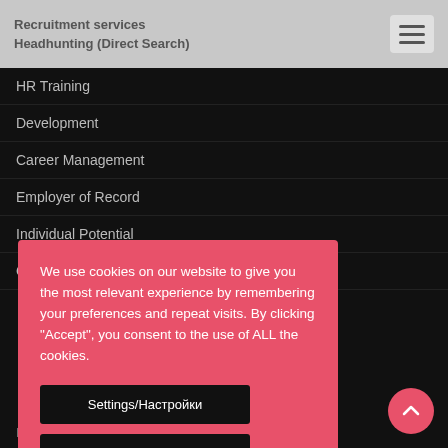Recruitment services | Headhunting (Direct Search)
HR Training
Development
Career Management
Employer of Record
Individual Potential
Onsite Recruiter
We use cookies on our website to give you the most relevant experience by remembering your preferences and repeat visits. By clicking “Accept”, you consent to the use of ALL the cookies.
Settings/Настройки
Accept/Приемам
Interesting Articles